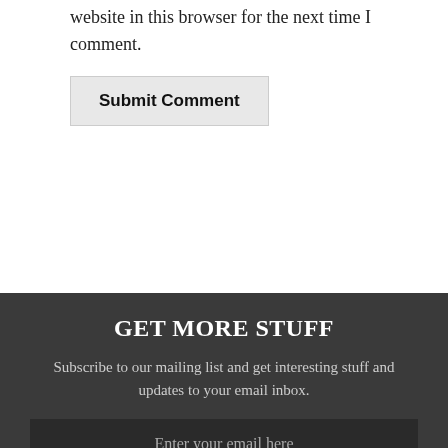website in this browser for the next time I comment.
Submit Comment
GET MORE STUFF
Subscribe to our mailing list and get interesting stuff and updates to your email inbox.
Enter your email here
I consent to my submitted data being collected via this form*
SIGN UP NOW